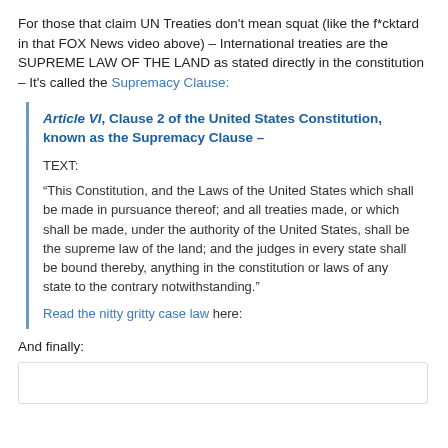For those that claim UN Treaties don't mean squat (like the f*cktard in that FOX News video above) – International treaties are the SUPREME LAW OF THE LAND as stated directly in the constitution – It's called the Supremacy Clause:
Article VI, Clause 2 of the United States Constitution, known as the Supremacy Clause –
TEXT:
“This Constitution, and the Laws of the United States which shall be made in pursuance thereof; and all treaties made, or which shall be made, under the authority of the United States, shall be the supreme law of the land; and the judges in every state shall be bound thereby, anything in the constitution or laws of any state to the contrary notwithstanding.”
Read the nitty gritty case law here:
And finally: